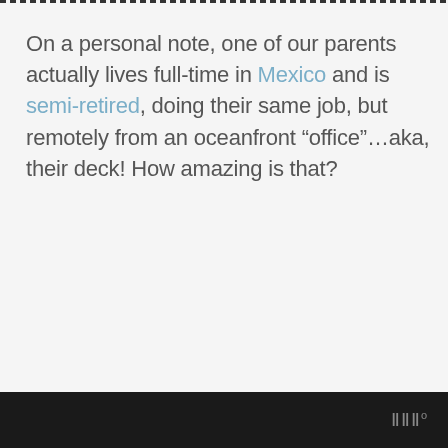On a personal note, one of our parents actually lives full-time in Mexico and is semi-retired, doing their same job, but remotely from an oceanfront “office”…aka, their deck! How amazing is that?
III°